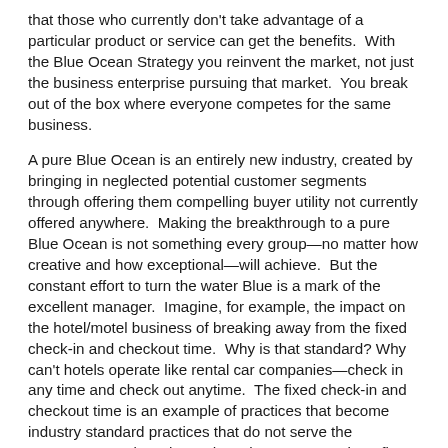that those who currently don't take advantage of a particular product or service can get the benefits.  With the Blue Ocean Strategy you reinvent the market, not just the business enterprise pursuing that market.  You break out of the box where everyone competes for the same business.
A pure Blue Ocean is an entirely new industry, created by bringing in neglected potential customer segments through offering them compelling buyer utility not currently offered anywhere.  Making the breakthrough to a pure Blue Ocean is not something every group—no matter how creative and how exceptional—will achieve.  But the constant effort to turn the water Blue is a mark of the excellent manager.  Imagine, for example, the impact on the hotel/motel business of breaking away from the fixed check-in and checkout time.  Why is that standard? Why can't hotels operate like rental car companies—check in any time and check out anytime.  The fixed check-in and checkout time is an example of practices that become industry standard practices that do not serve the customer. Practices that reduce the customer's benefits should be the enemy of the excellent manager.